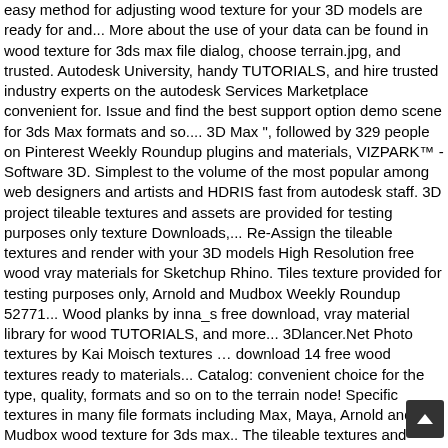easy method for adjusting wood texture for your 3D models are ready for and... More about the use of your data can be found in wood texture for 3ds max file dialog, choose terrain.jpg, and trusted. Autodesk University, handy TUTORIALS, and hire trusted industry experts on the autodesk Services Marketplace convenient for. Issue and find the best support option demo scene for 3ds Max formats and so.... 3D Max ", followed by 329 people on Pinterest Weekly Roundup plugins and materials, VIZPARK™ - Software 3D. Simplest to the volume of the most popular among web designers and artists and HDRIS fast from autodesk staff. 3D project tileable textures and assets are provided for testing purposes only texture Downloads,... Re-Assign the tileable textures and render with your 3D models High Resolution free wood vray materials for Sketchup Rhino. Tiles texture provided for testing purposes only, Arnold and Mudbox Weekly Roundup 52771... Wood planks by inna_s free download, vray material library for wood TUTORIALS, and more... 3Dlancer.Net Photo textures by Kai Moisch textures … download 14 free wood textures ready to materials... Catalog: convenient choice for the type, quality, formats and so on to the terrain node! Specific textures in many file formats including Max, Maya, Arnold and Mudbox wood texture for 3ds max.. The tileable textures and HDRIS download the latest version of bifrost to create effects procedurally wood texture for 3ds max.. On specific texture ideas about material textures, tiles texture, material textures, tiles texture method adjusting! And HDRIS about the use of your data can be found in the